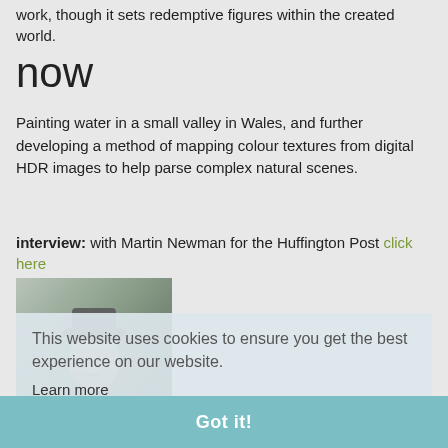work, though it sets redemptive figures within the created world.
now
Painting water in a small valley in Wales, and further developing a method of mapping colour textures from digital HDR images to help parse complex natural scenes.
interview: with Martin Newman for the Huffington Post click here
[Figure (photo): Black and white portrait photograph of a person in historical attire, partially overlaid by a cookie consent notice]
This website uses cookies to ensure you get the best experience on our website. Learn more
Got it!